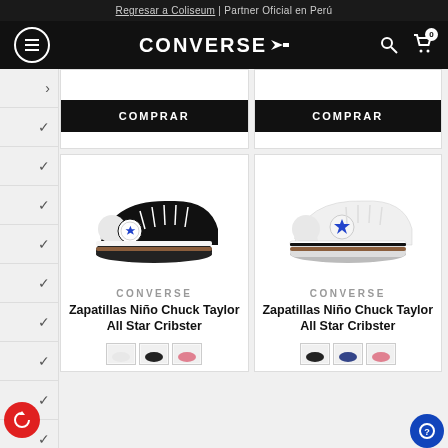Regresar a Coliseum | Partner Oficial en Perú
[Figure (logo): Converse logo with star and arrow on black navigation bar]
COMPRAR
COMPRAR
[Figure (photo): Converse Chuck Taylor All Star Cribster baby shoe in black]
CONVERSE
Zapatillas Niño Chuck Taylor All Star Cribster
[Figure (photo): Converse Chuck Taylor All Star Cribster baby shoe in white]
CONVERSE
Zapatillas Niño Chuck Taylor All Star Cribster